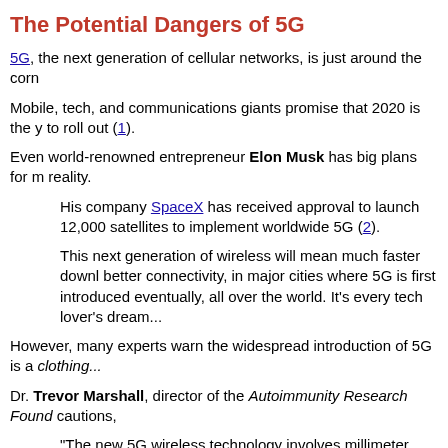The Potential Dangers of 5G
5G, the next generation of cellular networks, is just around the corn
Mobile, tech, and communications giants promise that 2020 is the y to roll out (1).
Even world-renowned entrepreneur Elon Musk has big plans for m reality.
His company SpaceX has received approval to launch 12,000 satellites to implement worldwide 5G (2).
This next generation of wireless will mean much faster downl better connectivity, in major cities where 5G is first introduced eventually, all over the world. It's every tech lover's dream...
However, many experts warn the widespread introduction of 5G is a clothing...
Dr. Trevor Marshall, director of the Autoimminity Research Found cautions,
“The new 5G wireless technology involves millimeter waves ( high frequencies) producing photons of much greater energy 4G and Wi-Fi.